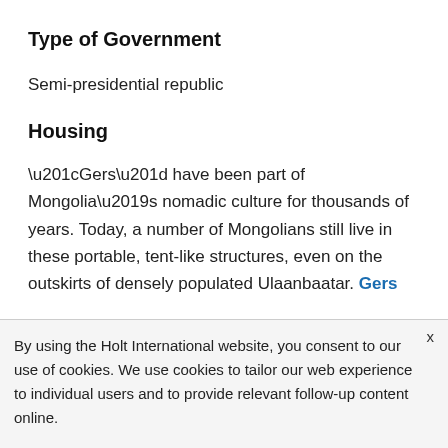Type of Government
Semi-presidential republic
Housing
“Gers” have been part of Mongolia’s nomadic culture for thousands of years. Today, a number of Mongolians still live in these portable, tent-like structures, even on the outskirts of densely populated Ulaanbaatar. Gers typically consist of a wooden frame covered in “felt” or animal hide and an additional layer of canvas to
By using the Holt International website, you consent to our use of cookies. We use cookies to tailor our web experience to individual users and to provide relevant follow-up content online.